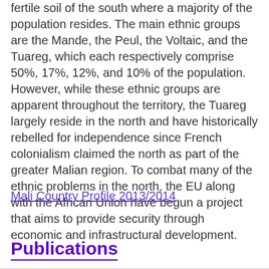fertile soil of the south where a majority of the population resides. The main ethnic groups are the Mande, the Peul, the Voltaic, and the Tuareg, which each respectively comprise 50%, 17%, 12%, and 10% of the population. However, while these ethnic groups are apparent throughout the territory, the Tuareg largely reside in the north and have historically rebelled for independence since French colonialism claimed the north as part of the greater Malian region. To combat many of the ethnic problems in the north, the EU along with the African Union have begun a project that aims to provide security through economic and infrastructural development.
Mali Country Profile 2013/2014
Publications